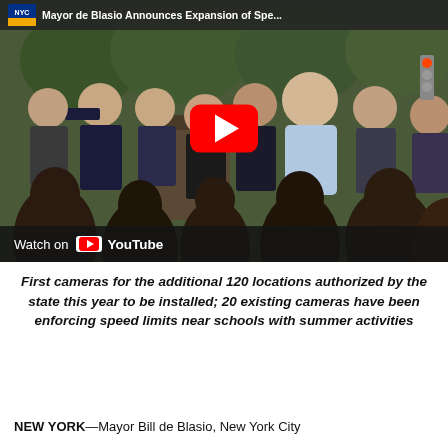[Figure (screenshot): YouTube video thumbnail showing Mayor de Blasio at a press conference with officials, police, and crowd. Title bar reads 'Mayor de Blasio Announces Expansion of Spe...' with NYC logo. Large red YouTube play button in center. 'Watch on YouTube' bar at bottom.]
First cameras for the additional 120 locations authorized by the state this year to be installed; 20 existing cameras have been enforcing speed limits near schools with summer activities
NEW YORK—Mayor Bill de Blasio, New York City